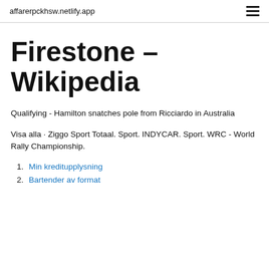affarerpckhsw.netlify.app
Firestone – Wikipedia
Qualifying - Hamilton snatches pole from Ricciardo in Australia
Visa alla · Ziggo Sport Totaal. Sport. INDYCAR. Sport. WRC - World Rally Championship.
1. Min kreditupplysning
2. Bartender av format